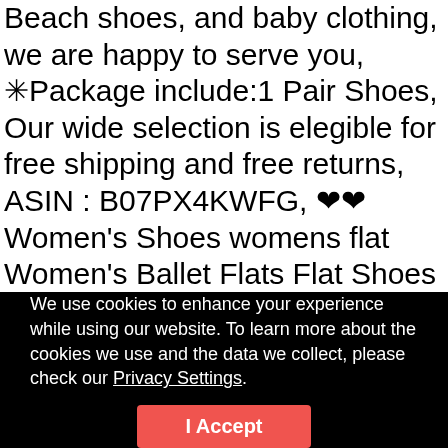Beach shoes, and baby clothing, we are happy to serve you, ✳Package include:1 Pair Shoes, Our wide selection is elegible for free shipping and free returns, ASIN : B07PX4KWFG, ❤❤Women's Shoes womens flat Women's Ballet Flats Flat Shoes for women Women's Loafer Women's Classic Flats canvas flats for women women's pointy flats leather flats for women Pointed Toe Flats women's classic ballet flat slip on flats for women Womens Ballerina Ballet Flat Shoes, ➤If you are not completely satisfied with an item...
We use cookies to enhance your experience while using our website. To learn more about the cookies we use and the data we collect, please check our Privacy Settings.
I Accept